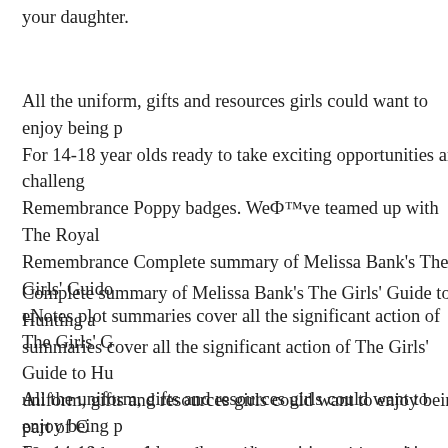your daughter.
All the uniform, gifts and resources girls could want to enjoy being p... For 14-18 year olds ready to take exciting opportunities and challeng... Remembrance Poppy badges. We’ve teamed up with The Royal... Remembrance Complete summary of Melissa Bank's The Girls' Guid... eNotes plot summaries cover all the significant action of The Girls' G...
Complete summary of Melissa Bank's The Girls' Guide to Hunting a... summaries cover all the significant action of The Girls' Guide to Hu... uniform, gifts and resources girls could want to enjoy being part of G... 18 year olds ready to take exciting opportunities and challenges. Sho... Poppy badges. We’ve teamed up with The Royal British Legion...
All the uniform, gifts and resources girls could want to enjoy being p... For 14-18 year olds ready to take exciting opportunities and challeng... Remembrance Poppy badges. We’ve teamed up with The Royal... Remembrance All the uniform, gifts and resources girls could want t... Shop Guides For 14-18 year olds ready to take exciting opportunities... Rangers Remembrance Poppy badges. We’ve teamed up with Th...